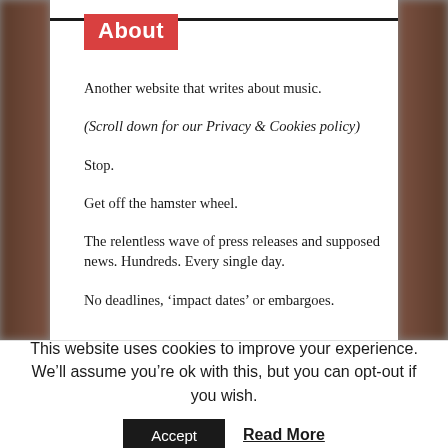About
Another website that writes about music.
(Scroll down for our Privacy & Cookies policy)
Stop.
Get off the hamster wheel.
The relentless wave of press releases and supposed news. Hundreds. Every single day.
No deadlines, ‘impact dates’ or embargoes.
This website uses cookies to improve your experience. We’ll assume you’re ok with this, but you can opt-out if you wish.
Accept   Read More